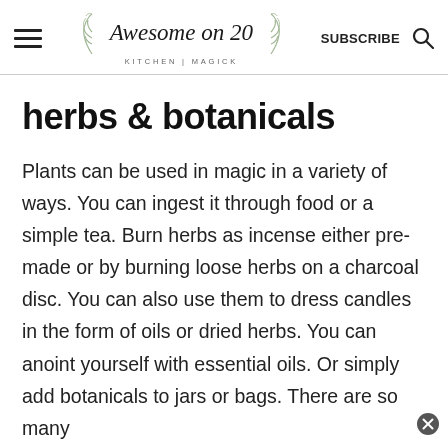Awesome on 20 | KITCHEN | MAGICK | SUBSCRIBE
herbs & botanicals
Plants can be used in magic in a variety of ways. You can ingest it through food or a simple tea. Burn herbs as incense either pre-made or by burning loose herbs on a charcoal disc. You can also use them to dress candles in the form of oils or dried herbs. You can anoint yourself with essential oils. Or simply add botanicals to jars or bags. There are so many